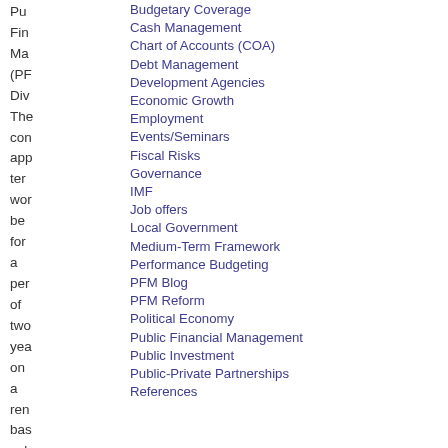Pu
Fin
Ma
(PF
Div
The
con
app
ter
wor
be
for
a
per
of
two
yea
on
a
ren
bas
sub
to
sat
Budgetary Coverage
Cash Management
Chart of Accounts (COA)
Debt Management
Development Agencies
Economic Growth
Employment
Events/Seminars
Fiscal Risks
Governance
IMF
Job offers
Local Government
Medium-Term Framework
Performance Budgeting
PFM Blog
PFM Reform
Political Economy
Public Financial Management
Public Investment
Public-Private Partnerships
References